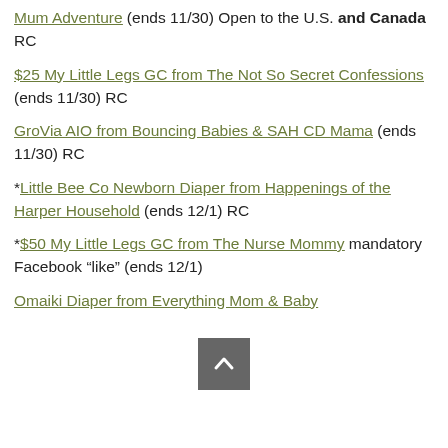Mum Adventure (ends 11/30) Open to the U.S. and Canada RC
$25 My Little Legs GC from The Not So Secret Confessions (ends 11/30) RC
GroVia AIO from Bouncing Babies & SAH CD Mama (ends 11/30) RC
*Little Bee Co Newborn Diaper from Happenings of the Harper Household (ends 12/1) RC
*$50 My Little Legs GC from The Nurse Mommy mandatory Facebook “like” (ends 12/1)
Omaiki Diaper from Everything Mom & Baby